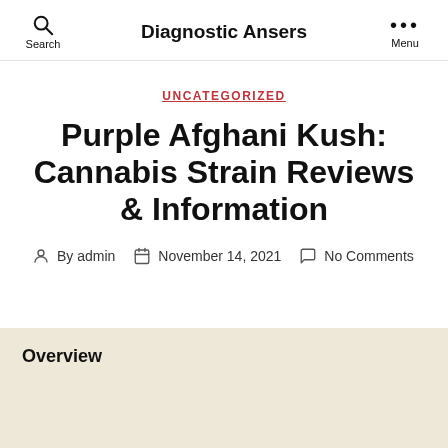Diagnostic Ansers
UNCATEGORIZED
Purple Afghani Kush: Cannabis Strain Reviews & Information
By admin   November 14, 2021   No Comments
Overview